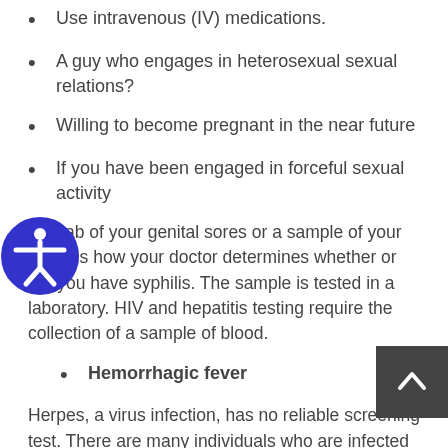Use intravenous (IV) medications.
A guy who engages in heterosexual sexual relations?
Willing to become pregnant in the near future
If you have been engaged in forceful sexual activity
A swab of your genital sores or a sample of your blood is how your doctor determines whether or not you have syphilis. The sample is tested in a laboratory. HIV and hepatitis testing require the collection of a sample of blood.
Hemorrhagic fever
Herpes, a virus infection, has no reliable screening test. There are many individuals who are infected with herpes yet don’t show any symptoms. If you have blisters or early ulcers, your doctor may send a sample to a lab for testing. Herpes may still cause vaginal ulcers even if the test results are negative.
An earlier herpes virus infection may be detected with a